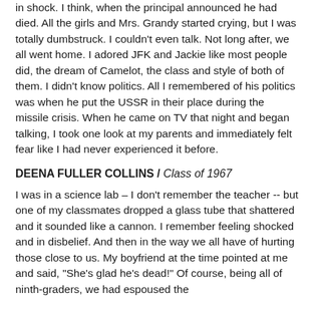in shock. I think, when the principal announced he had died. All the girls and Mrs. Grandy started crying, but I was totally dumbstruck. I couldn't even talk. Not long after, we all went home. I adored JFK and Jackie like most people did, the dream of Camelot, the class and style of both of them. I didn't know politics. All I remembered of his politics was when he put the USSR in their place during the missile crisis. When he came on TV that night and began talking, I took one look at my parents and immediately felt fear like I had never experienced it before.
DEENA FULLER COLLINS / Class of 1967
I was in a science lab – I don't remember the teacher -- but one of my classmates dropped a glass tube that shattered and it sounded like a cannon. I remember feeling shocked and in disbelief. And then in the way we all have of hurting those close to us. My boyfriend at the time pointed at me and said, "She's glad he's dead!" Of course, being all of ninth-graders, we had espoused the